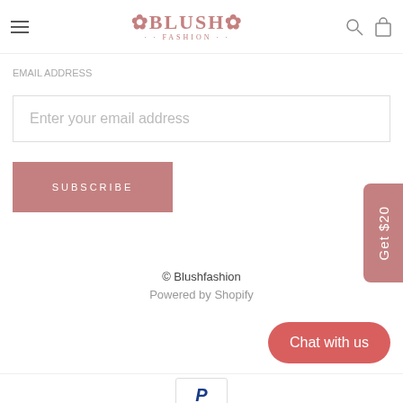BLUSH
Enter your email address
SUBSCRIBE
Get $20
© Blushfashion
Powered by Shopify
Chat with us